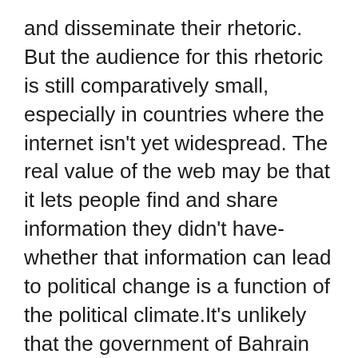and disseminate their rhetoric. But the audience for this rhetoric is still comparatively small, especially in countries where the internet isn't yet widespread. The real value of the web may be that it lets people find and share information they didn't have-whether that information can lead to political change is a function of the political climate.It's unlikely that the government of Bahrain viewed the launch of Google Maps as a threat to its political stability. But an anonymous activist saw the potential of the program to expose inequitable land distribution in the most densely populated nation in the Middle East. The activist produced a 45-page